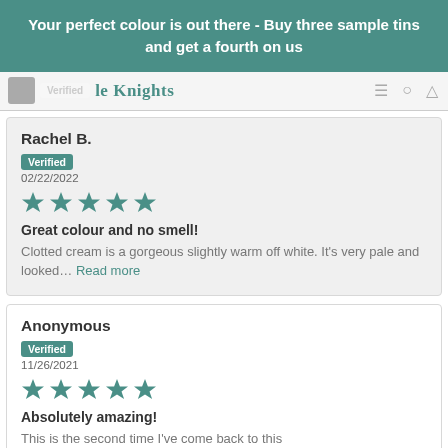Your perfect colour is out there - Buy three sample tins and get a fourth on us
Little Knights
Rachel B.
Verified
02/22/2022
[Figure (other): 5 teal star rating icons]
Great colour and no smell!
Clotted cream is a gorgeous slightly warm off white. It's very pale and looked... Read more
Anonymous
Verified
11/26/2021
[Figure (other): 5 teal star rating icons]
Absolutely amazing!
This is the second time I've come back to this